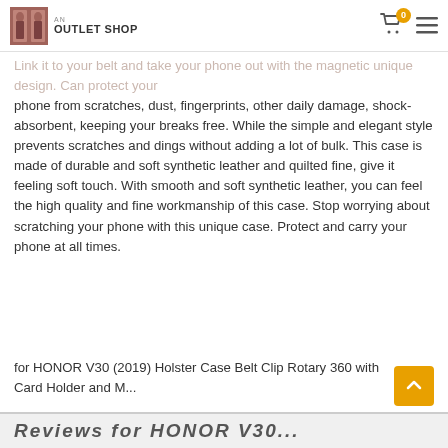OUTLET SHOP
Link it to your belt and take your phone out with the magnetic unique design. Can protect your phone from scratches, dust, fingerprints, other daily damage, shock-absorbent, keeping your breaks free. While the simple and elegant style prevents scratches and dings without adding a lot of bulk. This case is made of durable and soft synthetic leather and quilted fine, give it feeling soft touch. With smooth and soft synthetic leather, you can feel the high quality and fine workmanship of this case. Stop worrying about scratching your phone with this unique case. Protect and carry your phone at all times.
for HONOR V30 (2019) Holster Case Belt Clip Rotary 360 with Card Holder and M...